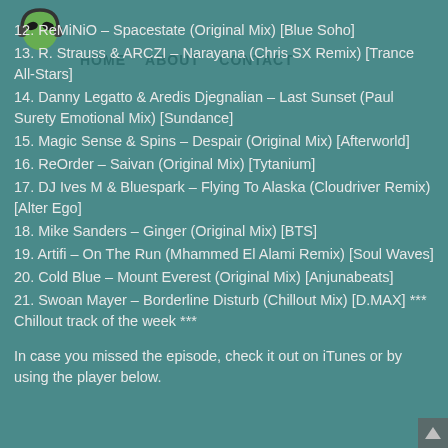[Figure (logo): Alien head logo with headphones, circular green alien face icon]
12. ReMiNiO – Spacestate (Original Mix) [Blue Soho]
13. R. Strauss & ARCZI – Narayana (Chris SX Remix) [Trance All-Stars]
14. Danny Legatto & Aredis Djegnalian – Last Sunset (Paul Surety Emotional Mix) [Sundance]
15. Magic Sense & Spins – Despair (Original Mix) [Afterworld]
16. ReOrder – Saivan (Original Mix) [Tytanium]
17. DJ Ives M & Bluespark – Flying To Alaska (Cloudriver Remix) [Alter Ego]
18. Mike Sanders – Ginger (Original Mix) [BTS]
19. Artifi – On The Run (Mhammed El Alami Remix) [Soul Waves]
20. Cold Blue – Mount Everest (Original Mix) [Anjunabeats]
21. Swoan Mayer – Borderline Disturb (Chillout Mix) [D.MAX] *** Chillout track of the week ***
In case you missed the episode, check it out on iTunes or by using the player below.